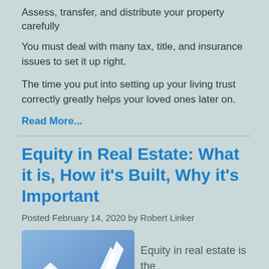Assess, transfer, and distribute your property carefully
You must deal with many tax, title, and insurance issues to set it up right.
The time you put into setting up your living trust correctly greatly helps your loved ones later on.
Read More...
Equity in Real Estate: What it is, How it's Built, Why it's Important
Posted February 14, 2020 by Robert Linker
[Figure (photo): Photo showing a stack of money with a white upward-pointing arrow and a house model on a blue background, representing real estate equity growth.]
Equity in real estate is the